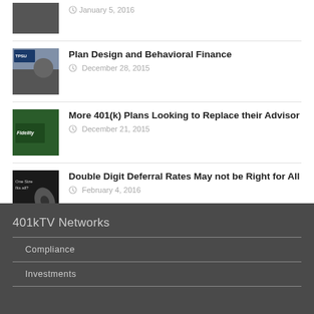January 5, 2016
Plan Design and Behavioral Finance
December 28, 2015
More 401(k) Plans Looking to Replace their Advisor
December 21, 2015
Double Digit Deferral Rates May not be Right for All
February 4, 2016
401kTV Networks
Compliance
Investments